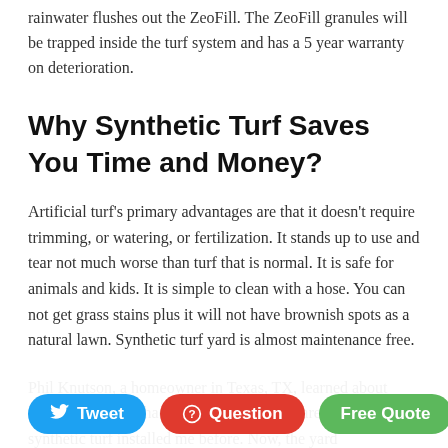rainwater flushes out the ZeoFill. The ZeoFill granules will be trapped inside the turf system and has a 5 year warranty on deterioration.
Why Synthetic Turf Saves You Time and Money?
Artificial turf's primary advantages are that it doesn't require trimming, or watering, or fertilization. It stands up to use and tear not much worse than turf that is normal. It is safe for animals and kids. It is simple to clean with a hose. You can not get grass stains plus it will not have brownish spots as a natural lawn. Synthetic turf yard is almost maintenance free.
Phil Knutson, a homeowner in Texas, TX, learned about synthetic turf. He had more than 1,200 square-feet of synthetic turf installed me before. Now, the yard